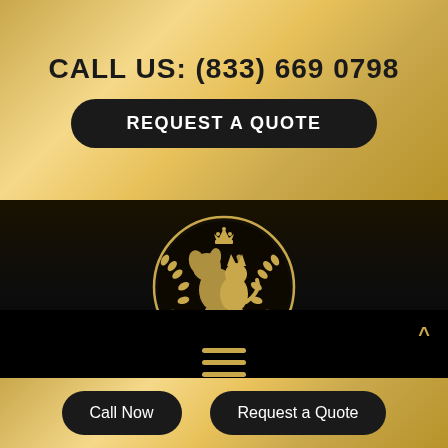CALL US: (833) 669 0798
REQUEST A QUOTE
[Figure (logo): Luxury Pet Express circular logo with gold dog and cat silhouettes, crown, laurel wreath on black background]
LUXURY PET EXPRESS
• EXPRESS •
Call Now
Request a Quote